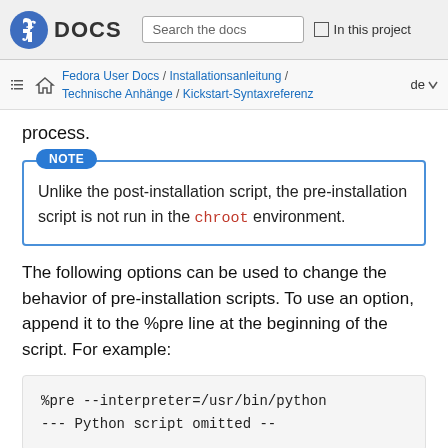DOCS | Search the docs | In this project
Fedora User Docs / Installationsanleitung / Technische Anhänge / Kickstart-Syntaxreferenz | de
process.
NOTE
Unlike the post-installation script, the pre-installation script is not run in the chroot environment.
The following options can be used to change the behavior of pre-installation scripts. To use an option, append it to the %pre line at the beginning of the script. For example:
%pre --interpreter=/usr/bin/python
--- Python script omitted --